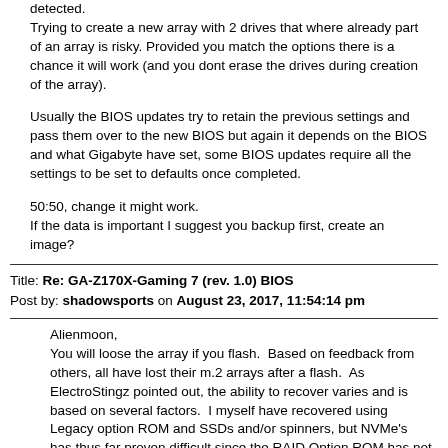detected.
Trying to create a new array with 2 drives that where already part of an array is risky. Provided you match the options there is a chance it will work (and you dont erase the drives during creation of the array).
Usually the BIOS updates try to retain the previous settings and pass them over to the new BIOS but again it depends on the BIOS and what Gigabyte have set, some BIOS updates require all the settings to be set to defaults once completed.
50:50, change it might work.
If the data is important I suggest you backup first, create an image?
Title: Re: GA-Z170X-Gaming 7 (rev. 1.0) BIOS
Post by: shadowsports on August 23, 2017, 11:54:14 pm
Alienmoon,
You will loose the array if you flash.  Based on feedback from others, all have lost their m.2 arrays after a flash.  As ElectroStingz pointed out, the ability to recover varies and is based on several factors.  I myself have recovered using Legacy option ROM and SSDs and/or spinners, but NVMe's has thus far proven difficult since the RAID Option ROM has not been included in the UEFI portion of BIOS.
About BIOS revisions and betas.  Ones ending with a letter